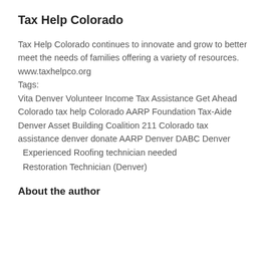Tax Help Colorado
Tax Help Colorado continues to innovate and grow to better meet the needs of families offering a variety of resources.
www.taxhelpco.org
Tags:
Vita Denver Volunteer Income Tax Assistance Get Ahead Colorado tax help Colorado AARP Foundation Tax-Aide Denver Asset Building Coalition 211 Colorado tax assistance denver donate AARP Denver DABC Denver
Experienced Roofing technician needed
Restoration Technician (Denver)
About the author